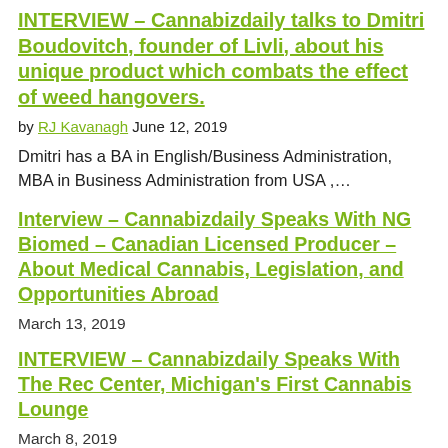INTERVIEW – Cannabizdaily talks to Dmitri Boudovitch, founder of Livli, about his unique product which combats the effect of weed hangovers.
by RJ Kavanagh June 12, 2019
Dmitri has a BA in English/Business Administration, MBA in Business Administration from USA ,...
Interview – Cannabizdaily Speaks With NG Biomed – Canadian Licensed Producer – About Medical Cannabis, Legislation, and Opportunities Abroad
March 13, 2019
INTERVIEW – Cannabizdaily Speaks With The Rec Center, Michigan's First Cannabis Lounge
March 8, 2019